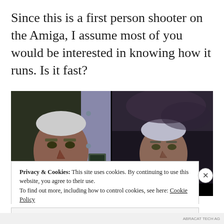Since this is a first person shooter on the Amiga, I assume most of you would be interested in knowing how it runs. Is it fast?
[Figure (screenshot): Screenshot of a first-person shooter game on the Amiga, showing two side-by-side game character portraits — a soldier/warrior figure in green armor with an angry expression on the left, and a similar character with a calmer expression on the right, against dark backgrounds.]
Privacy & Cookies: This site uses cookies. By continuing to use this website, you agree to their use.
To find out more, including how to control cookies, see here: Cookie Policy
Close and accept